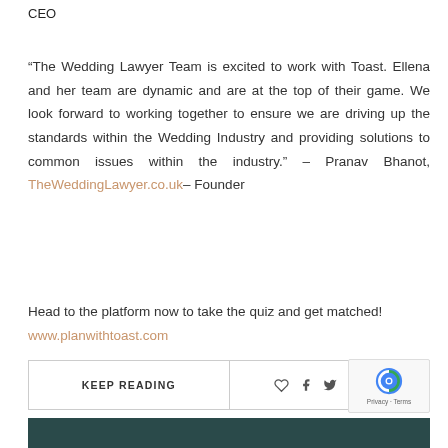CEO
“The Wedding Lawyer Team is excited to work with Toast. Ellena and her team are dynamic and are at the top of their game. We look forward to working together to ensure we are driving up the standards within the Wedding Industry and providing solutions to common issues within the industry.” – Pranav Bhanot, TheWeddingLawyer.co.uk– Founder
Head to the platform now to take the quiz and get matched! www.planwithtoast.com
| KEEP READING | ♡  f  🔽  ❤  ✉ |